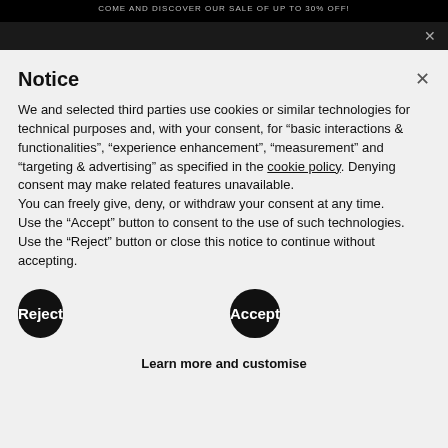COME AND DISCOVER OUR SALE OF UP TO 30% OFF!
Notice
We and selected third parties use cookies or similar technologies for technical purposes and, with your consent, for “basic interactions & functionalities”, “experience enhancement”, “measurement” and “targeting & advertising” as specified in the cookie policy. Denying consent may make related features unavailable.
You can freely give, deny, or withdraw your consent at any time.
Use the “Accept” button to consent to the use of such technologies. Use the “Reject” button or close this notice to continue without accepting.
Reject
Accept
Learn more and customise